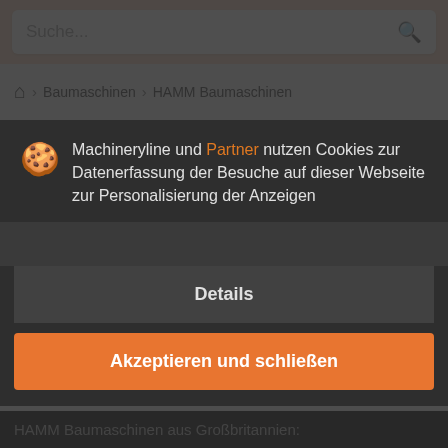Suche...
Baumaschinen › HAMM Baumaschinen
HAMM Baumaschinen aus Großbritannien
Machineryline und Partner nutzen Cookies zur Datenerfassung der Besuche auf dieser Webseite zur Personalisierung der Anzeigen
Details
Akzeptieren und schließen
HAMM Baumaschinen aus Großbritannien: